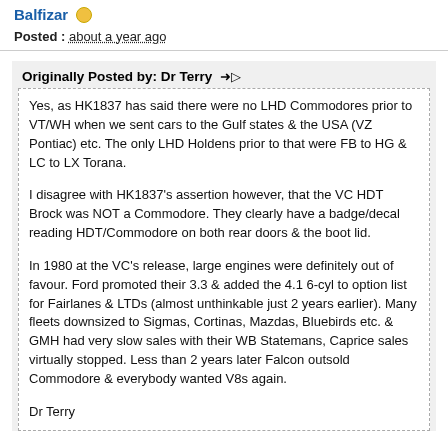Balfizar
Posted : about a year ago
Originally Posted by: Dr Terry
Yes, as HK1837 has said there were no LHD Commodores prior to VT/WH when we sent cars to the Gulf states & the USA (VZ Pontiac) etc. The only LHD Holdens prior to that were FB to HG & LC to LX Torana.

I disagree with HK1837's assertion however, that the VC HDT Brock was NOT a Commodore. They clearly have a badge/decal reading HDT/Commodore on both rear doors & the boot lid.

In 1980 at the VC's release, large engines were definitely out of favour. Ford promoted their 3.3 & added the 4.1 6-cyl to option list for Fairlanes & LTDs (almost unthinkable just 2 years earlier). Many fleets downsized to Sigmas, Cortinas, Mazdas, Bluebirds etc. & GMH had very slow sales with their WB Statemans, Caprice sales virtually stopped. Less than 2 years later Falcon outsold Commodore & everybody wanted V8s again.

Dr Terry